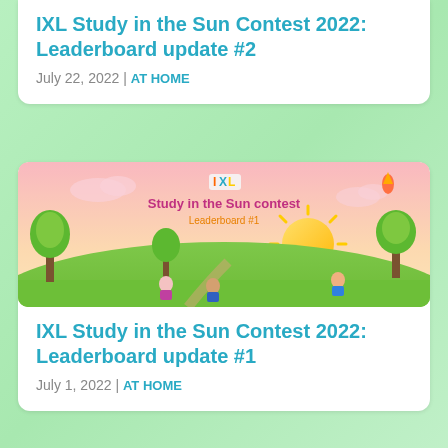IXL Study in the Sun Contest 2022: Leaderboard update #2
July 22, 2022 | AT HOME
[Figure (illustration): IXL Study in the Sun contest Leaderboard #1 promotional banner with children studying outdoors on a grassy hill with trees and sunshine]
IXL Study in the Sun Contest 2022: Leaderboard update #1
July 1, 2022 | AT HOME